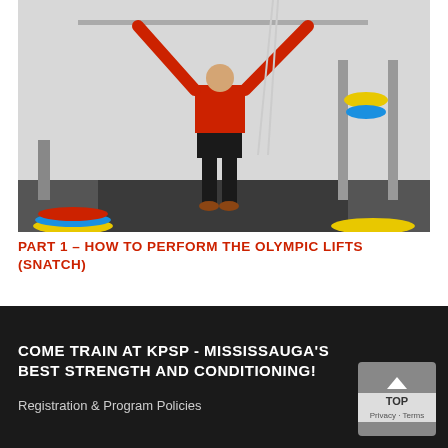[Figure (photo): A weightlifter in a red shirt and black shorts performing a snatch overhead press in a gym with colorful weight plates on the floor and a barbell rack in the background.]
PART 1 – HOW TO PERFORM THE OLYMPIC LIFTS (SNATCH)
COME TRAIN AT KPSP - MISSISSAUGA'S BEST STRENGTH AND CONDITIONING!
Registration & Program Policies